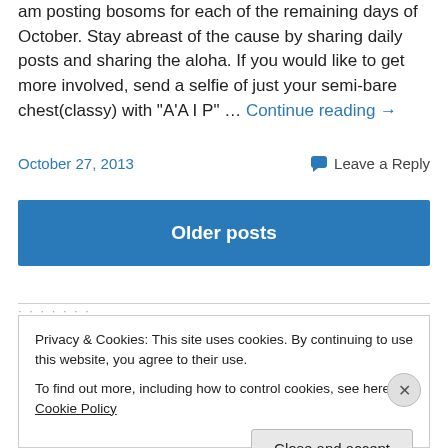am posting bosoms for each of the remaining days of October. Stay abreast of the cause by sharing daily posts and sharing the aloha. If you would like to get more involved, send a selfie of just your semi-bare chest(classy) with "A'A I P" … Continue reading →
October 27, 2013
Leave a Reply
Older posts
Privacy & Cookies: This site uses cookies. By continuing to use this website, you agree to their use.
To find out more, including how to control cookies, see here: Cookie Policy
Close and accept